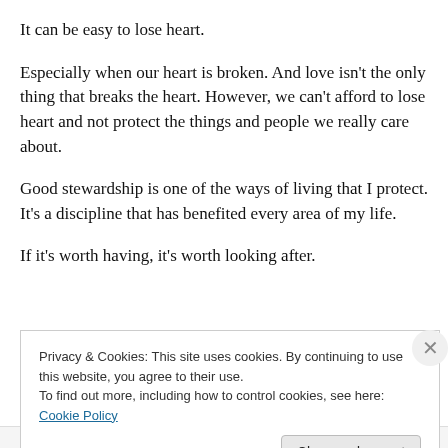It can be easy to lose heart.
Especially when our heart is broken. And love isn't the only thing that breaks the heart. However, we can't afford to lose heart and not protect the things and people we really care about.
Good stewardship is one of the ways of living that I protect. It's a discipline that has benefited every area of my life.
If it's worth having, it's worth looking after.
Privacy & Cookies: This site uses cookies. By continuing to use this website, you agree to their use.
To find out more, including how to control cookies, see here: Cookie Policy
Close and accept